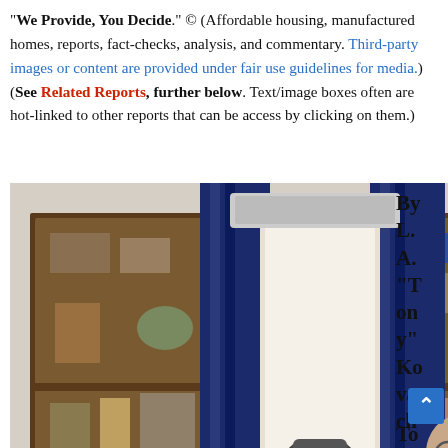"We Provide, You Decide." © (Affordable housing, manufactured homes, reports, fact-checks, analysis, and commentary. Third-party images or content are provided under fair use guidelines for media.) (See Related Reports, further below. Text/image boxes often are hot-linked to other reports that can be access by clicking on them.)
[Figure (photo): Two men in a congressional office, one seated at a large wooden desk writing, another leaning over him. Behind them are wooden bookshelves with various items, blue curtains, and a window. A nameplate on the desk reads 'AL GREEN MEMBER OF CONGRESS'.]
By L. A. "Tony" Kovach
To